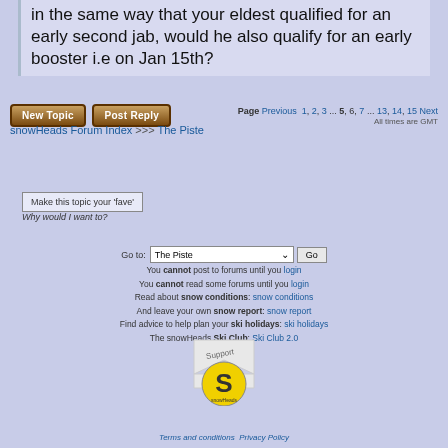in the same way that your eldest qualified for an early second jab, would he also qualify for an early booster i.e on Jan 15th?
Page Previous 1, 2, 3 ... 5, 6, 7 ... 13, 14, 15 Next
All times are GMT
snowHeads Forum Index >>> The Piste
Make this topic your 'fave'
Why would I want to?
Go to: The Piste  Go
You cannot post to forums until you login
You cannot read some forums until you login
Read about snow conditions: snow conditions
And leave your own snow report: snow report
Find advice to help plan your ski holidays: ski holidays
The snowHeads Ski Club: Ski Club 2.0
[Figure (logo): Support snowHeads logo - yellow S letter with support text badge]
Terms and conditions  Privacy Policy